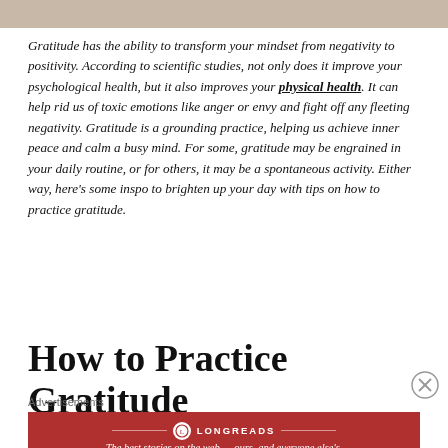[Figure (photo): Partial top image strip, cropped photo]
Gratitude has the ability to transform your mindset from negativity to positivity. According to scientific studies, not only does it improve your psychological health, but it also improves your physical health. It can help rid us of toxic emotions like anger or envy and fight off any fleeting negativity. Gratitude is a grounding practice, helping us achieve inner peace and calm a busy mind. For some, gratitude may be engrained in your daily routine, or for others, it may be a spontaneous activity. Either way, here's some inspo to brighten up your day with tips on how to practice gratitude.
How to Practice Gratitude
[Figure (logo): Longreads advertisement banner: 'The best stories on the web — ours, and everyone else's.']